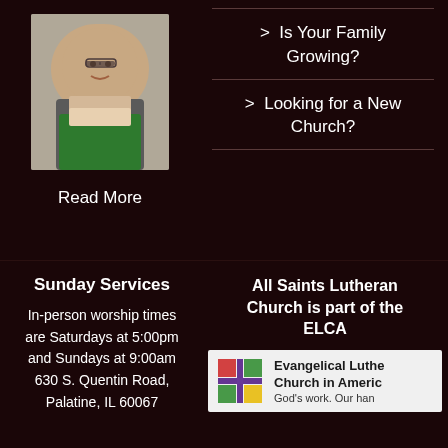[Figure (photo): Portrait photo of a woman pastor wearing glasses and a green stole, smiling]
Read More
> Is Your Family Growing?
> Looking for a New Church?
Sunday Services
In-person worship times are Saturdays at 5:00pm and Sundays at 9:00am 630 S. Quentin Road, Palatine, IL 60067
All Saints Lutheran Church is part of the ELCA
[Figure (logo): ELCA (Evangelical Lutheran Church in America) logo with colorful cross symbol]
Evangelical Lutheran Church in America God's work. Our hands.